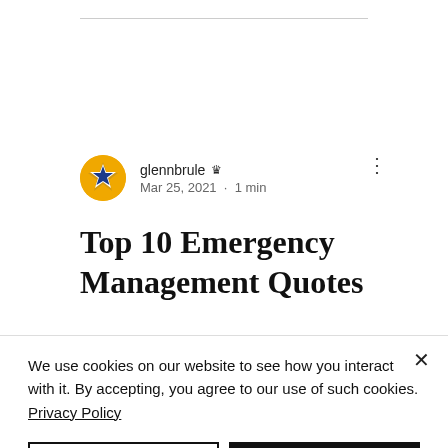[Figure (logo): Orange circular avatar with blue star/arrow emblem for user glennbrule]
glennbrule 👑
Mar 25, 2021 · 1 min
Top 10 Emergency Management Quotes
We use cookies on our website to see how you interact with it. By accepting, you agree to our use of such cookies. Privacy Policy
Decline All
Accept
Settings